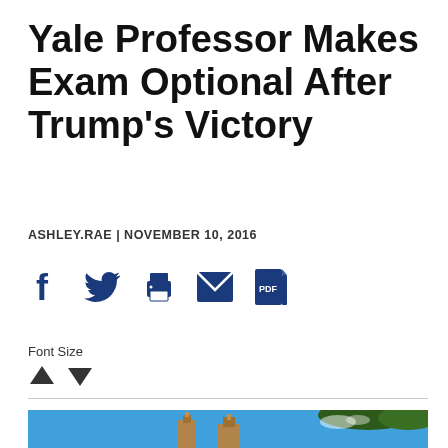Yale Professor Makes Exam Optional After Trump's Victory
ASHLEY.RAE | NOVEMBER 10, 2016
[Figure (infographic): Social media sharing icons: Facebook, Twitter, Print, Email, PDF]
Font Size
[Figure (photo): Photograph of Yale University buildings with Gothic architecture spires against a blue sky, with tree branches visible in the upper right corner]